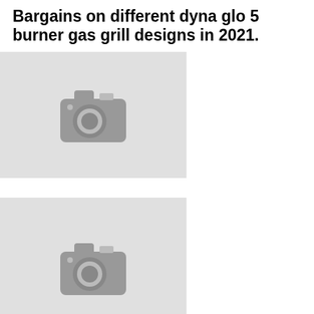Bargains on different dyna glo 5 burner gas grill designs in 2021.
[Figure (photo): Placeholder image with camera icon (first product image)]
[Figure (photo): Placeholder image with camera icon (second product image)]